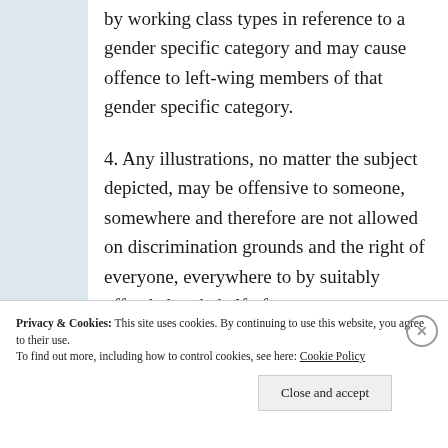by working class types in reference to a gender specific category and may cause offence to left-wing members of that gender specific category.

4. Any illustrations, no matter the subject depicted, may be offensive to someone, somewhere and therefore are not allowed on discrimination grounds and the right of everyone, everywhere to by suitably offended on behalf of
Privacy & Cookies: This site uses cookies. By continuing to use this website, you agree to their use.
To find out more, including how to control cookies, see here: Cookie Policy
Close and accept